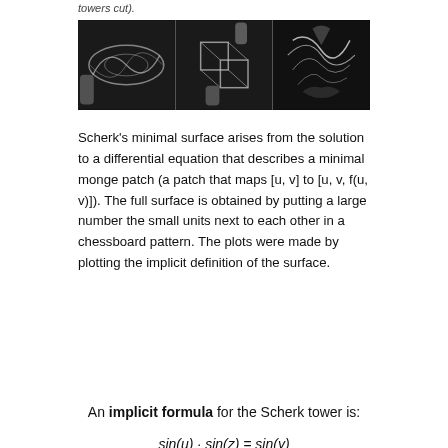towers cut).
[Figure (photo): Three black-and-white photos showing physical soap film models of Scherk's minimal surface from different angles]
Scherk's minimal surface arises from the solution to a differential equation that describes a minimal monge patch (a patch that maps [u, v] to [u, v, f(u, v)]). The full surface is obtained by putting a large number the small units next to each other in a chessboard pattern. The plots were made by plotting the implicit definition of the surface.
An implicit formula for the Scherk tower is: